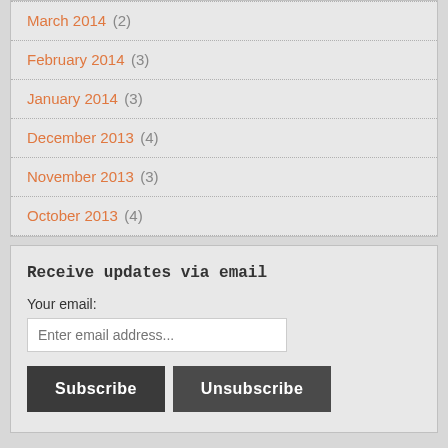March 2014 (2)
February 2014 (3)
January 2014 (3)
December 2013 (4)
November 2013 (3)
October 2013 (4)
Receive updates via email
Your email:
Enter email address...
Subscribe
Unsubscribe